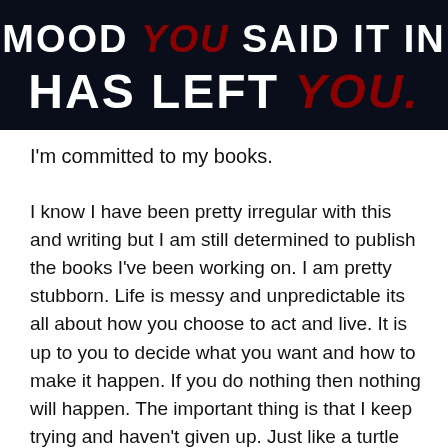[Figure (illustration): Dark navy/black background image with bold white text reading 'MOOD YOU SAID IT IN' and 'HAS LEFT YOU.' with 'YOU' styled in patterned/textured red/maroon lettering]
I'm committed to my books.
I know I have been pretty irregular with this and writing but I am still determined to publish the books I've been working on. I am pretty stubborn. Life is messy and unpredictable its all about how you choose to act and live. It is up to you to decide what you want and how to make it happen. If you do nothing then nothing will happen. The important thing is that I keep trying and haven't given up. Just like a turtle 🐢. I may move slow but I keep moving. There is so much I want to do an accomplice. I will do whatever I can when I can.